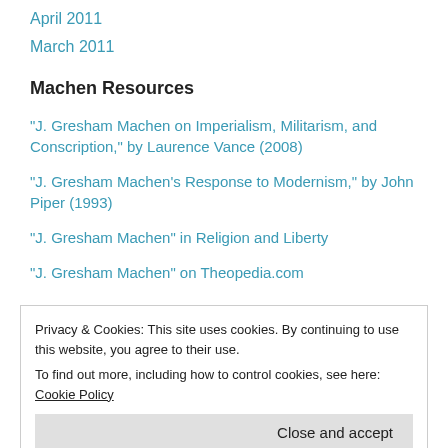April 2011
March 2011
Machen Resources
"J. Gresham Machen on Imperialism, Militarism, and Conscription," by Laurence Vance (2008)
"J. Gresham Machen's Response to Modernism," by John Piper (1993)
"J. Gresham Machen" in Religion and Liberty
"J. Gresham Machen" on Theopedia.com
Privacy & Cookies: This site uses cookies. By continuing to use this website, you agree to their use. To find out more, including how to control cookies, see here: Cookie Policy
Close and accept
"J. Gresham Machen: Unreconstructed Christian," by H. McAllister Griffiths